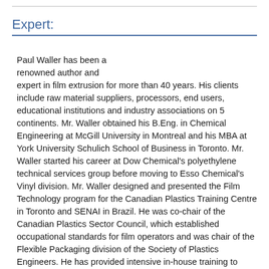Expert:
Paul Waller has been a renowned author and expert in film extrusion for more than 40 years. His clients include raw material suppliers, processors, end users, educational institutions and industry associations on 5 continents. Mr. Waller obtained his B.Eng. in Chemical Engineering at McGill University in Montreal and his MBA at York University Schulich School of Business in Toronto. Mr. Waller started his career at Dow Chemical's polyethylene technical services group before moving to Esso Chemical's Vinyl division. Mr. Waller designed and presented the Film Technology program for the Canadian Plastics Training Centre in Toronto and SENAI in Brazil. He was co-chair of the Canadian Plastics Sector Council, which established occupational standards for film operators and was chair of the Flexible Packaging division of the Society of Plastics Engineers. He has provided intensive in-house training to more than 1,200 operators, technicians and engineers on five continents in